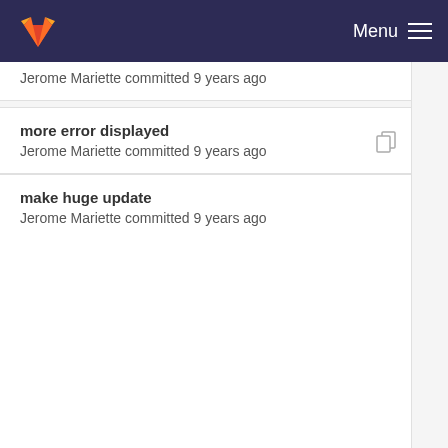Menu
Jerome Mariette committed 9 years ago
more error displayed
Jerome Mariette committed 9 years ago
make huge update
Jerome Mariette committed 9 years ago
more error displayed
Jerome Mariette committed 9 years ago
make huge update
Jerome Mariette committed 9 years ago